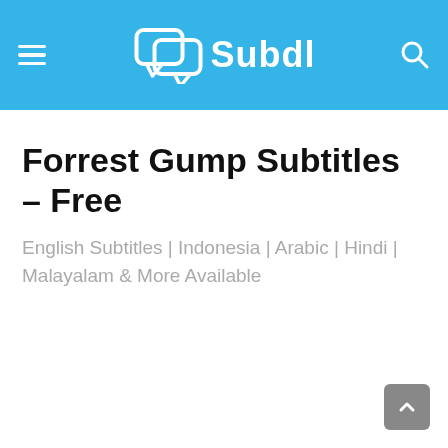Subdl
Forrest Gump Subtitles – Free
English Subtitles | Indonesia | Arabic | Hindi | Malayalam & More Available